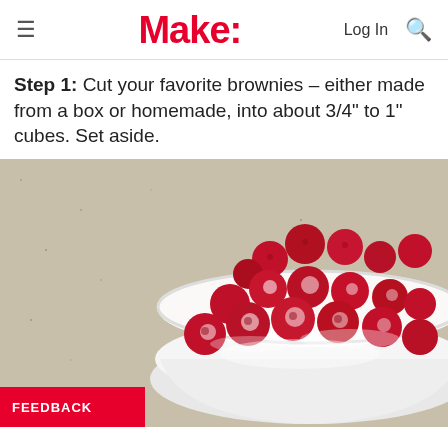Make: Log In
Step 1: Cut your favorite brownies – either made from a box or homemade, into about 3/4" to 1" cubes. Set aside.
[Figure (photo): A white scalloped bowl filled with raspberries dusted with powdered sugar, sitting on a speckled granite countertop.]
FEEDBACK